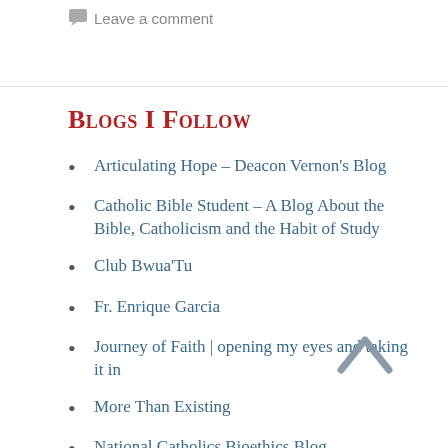Leave a comment
Blogs I Follow
Articulating Hope – Deacon Vernon's Blog
Catholic Bible Student – A Blog About the Bible, Catholicism and the Habit of Study
Club Bwua'Tu
Fr. Enrique Garcia
Journey of Faith | opening my eyes and taking it in
More Than Existing
National Catholics Bioethics Blog